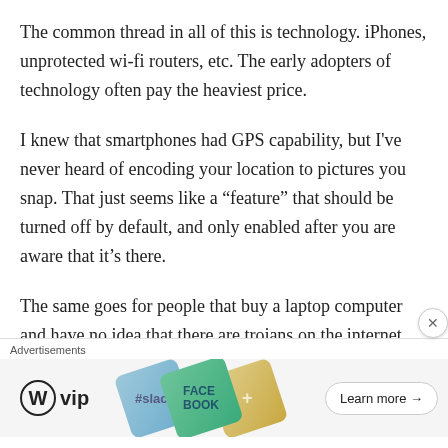The common thread in all of this is technology. iPhones, unprotected wi-fi routers, etc. The early adopters of technology often pay the heaviest price.
I knew that smartphones had GPS capability, but I've never heard of encoding your location to pictures you snap. That just seems like a “feature” that should be turned off by default, and only enabled after you are aware that it’s there.
The same goes for people that buy a laptop computer and have no idea that there are trojans on the internet that will enable the webcam and
Advertisements
[Figure (other): WordPress VIP advertisement banner with WordPress logo, colorful rotated tile graphics (Slack, Facebook branding), and a Learn more button]